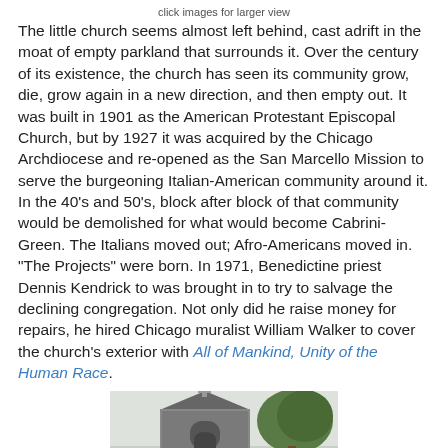click images for larger view
The little church seems almost left behind, cast adrift in the moat of empty parkland that surrounds it. Over the century of its existence, the church has seen its community grow, die, grow again in a new direction, and then empty out.  It was built in 1901 as the American Protestant Episcopal Church, but by 1927 it was acquired by the Chicago Archdiocese and re-opened as the San Marcello Mission to serve the burgeoning Italian-American community around it.  In the 40's and 50's, block after block of that community would be demolished for what would become Cabrini-Green.  The Italians moved out; Afro-Americans moved in.  "The Projects" were born.  In 1971,  Benedictine priest Dennis Kendrick to was brought in to try to salvage the declining congregation. Not only did he raise money for repairs, he hired Chicago muralist William Walker to cover the church's exterior with All of Mankind, Unity of the Human Race.
[Figure (photo): Photograph of a small church exterior with a cross on the roofline, and a tree visible to the right side]